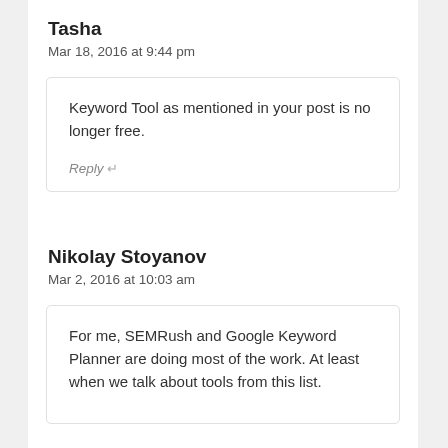Tasha
Mar 18, 2016 at 9:44 pm
Keyword Tool as mentioned in your post is no longer free.
Reply ↵
Nikolay Stoyanov
Mar 2, 2016 at 10:03 am
For me, SEMRush and Google Keyword Planner are doing most of the work. At least when we talk about tools from this list.